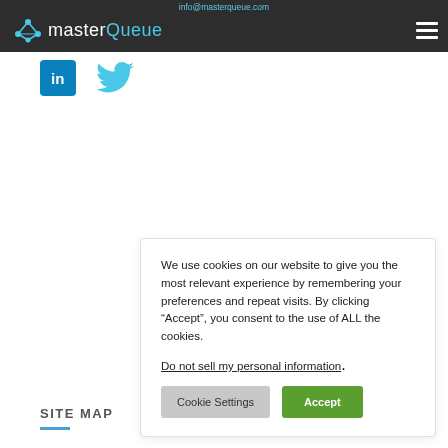info@masterqueue.com
[Figure (logo): masterQueue logo with network node icon and text 'masterQueue' in white/cyan on dark background]
[Figure (illustration): LinkedIn icon (blue square with 'in') and Twitter bird icon (cyan)]
We use cookies on our website to give you the most relevant experience by remembering your preferences and repeat visits. By clicking “Accept”, you consent to the use of ALL the cookies.
Do not sell my personal information.
Cookie Settings
Accept
SITE MAP